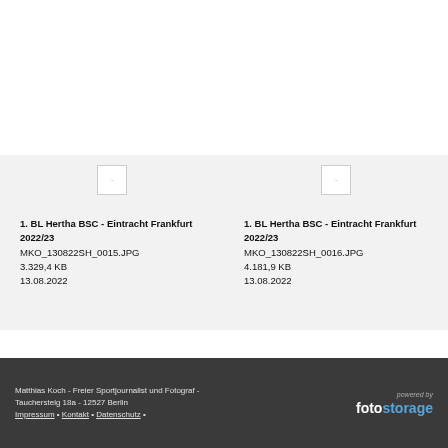[Figure (photo): Placeholder image thumbnail for MKO_130822SH_0015.JPG]
1. BL Hertha BSC - Eintracht Frankfurt 2022/23
MKO_130822SH_0015.JPG
3.329,4 KB
13.08.2022
[Figure (photo): Placeholder image thumbnail for MKO_130822SH_0016.JPG]
1. BL Hertha BSC - Eintracht Frankfurt 2022/23
MKO_130822SH_0016.JPG
4.181,9 KB
13.08.2022
Matthias Koch - Freier Sportjournalist und Fotograf - Tauchersteig 18a - 12527 Berlin
Impressum • Kontakt • Datenschutz •
powered by fotostorage